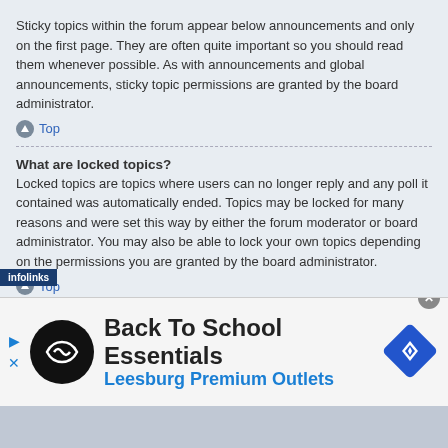Sticky topics within the forum appear below announcements and only on the first page. They are often quite important so you should read them whenever possible. As with announcements and global announcements, sticky topic permissions are granted by the board administrator.
Top
What are locked topics?
Locked topics are topics where users can no longer reply and any poll it contained was automatically ended. Topics may be locked for many reasons and were set this way by either the forum moderator or board administrator. You may also be able to lock your own topics depending on the permissions you are granted by the board administrator.
Top
What are topic icons?
Topic icons are author chosen images associated with posts to indicate their content. The ability to use topic icons depends on the permissions set by the board administrator.
[Figure (infographic): Advertisement banner for Back To School Essentials at Leesburg Premium Outlets with infolinks badge, circular logo, and diamond navigation icon]